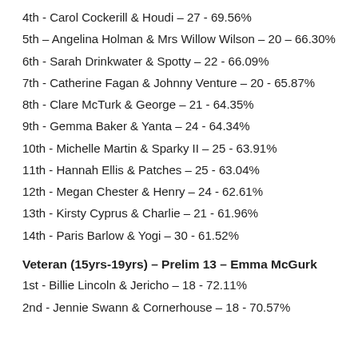4th - Carol Cockerill & Houdi – 27 - 69.56%
5th – Angelina Holman & Mrs Willow Wilson – 20 – 66.30%
6th - Sarah Drinkwater & Spotty – 22 - 66.09%
7th - Catherine Fagan & Johnny Venture – 20 - 65.87%
8th - Clare McTurk & George – 21 - 64.35%
9th - Gemma Baker & Yanta – 24 - 64.34%
10th - Michelle Martin & Sparky II – 25 - 63.91%
11th - Hannah Ellis & Patches – 25 - 63.04%
12th - Megan Chester & Henry – 24 - 62.61%
13th - Kirsty Cyprus & Charlie – 21 - 61.96%
14th - Paris Barlow & Yogi – 30 - 61.52%
Veteran (15yrs-19yrs) – Prelim 13 – Emma McGurk
1st - Billie Lincoln & Jericho – 18 - 72.11%
2nd - Jennie Swann & Cornerhouse – 18 - 70.57%